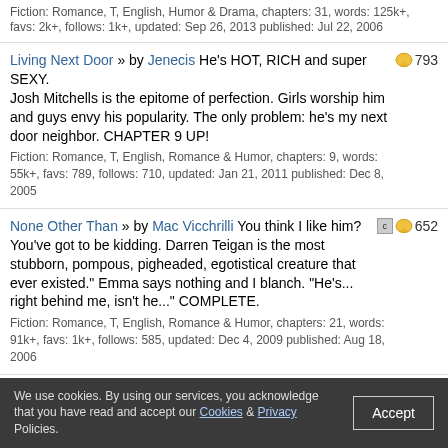Fiction: Romance, T, English, Humor & Drama, chapters: 31, words: 125k+, favs: 2k+, follows: 1k+, updated: Sep 26, 2013 published: Jul 22, 2006
Living Next Door » by Jenecis He's HOT, RICH and super SEXY. Josh Mitchells is the epitome of perfection. Girls worship him and guys envy his popularity. The only problem: he's my next door neighbor. CHAPTER 9 UP! Fiction: Romance, T, English, Romance & Humor, chapters: 9, words: 55k+, favs: 789, follows: 710, updated: Jan 21, 2011 published: Dec 8, 2005 [793 comments]
None Other Than » by Mac Vicchrilli You think I like him? You've got to be kidding. Darren Teigan is the most stubborn, pompous, pigheaded, egotistical creature that ever existed." Emma says nothing and I blanch. "He's... right behind me, isn't he..." COMPLETE. Fiction: Romance, T, English, Romance & Humor, chapters: 21, words: 91k+, favs: 1k+, follows: 585, updated: Dec 4, 2009 published: Aug 18, 2006 [652 comments]
Rocked Like Me » by Enigmatic Night I may be somewhat strange, but he's got arrogance down to an artform. I may have thrown a rock at his car, but it's no excuse to concoct a plan to kill me. Honestly, who does he think he is? The nerve of some people. Course language, you've been warned. Fiction: Romance, T, English, Humor & Romance, chapters: 31, words: 166k+, favs: 1k+, follows: 516, updated: Dec 7, 2008 published: Mar 26, 2007 [1k+ comments]
We use cookies. By using our services, you acknowledge that you have read and accept our Cookies & Privacy Policies.